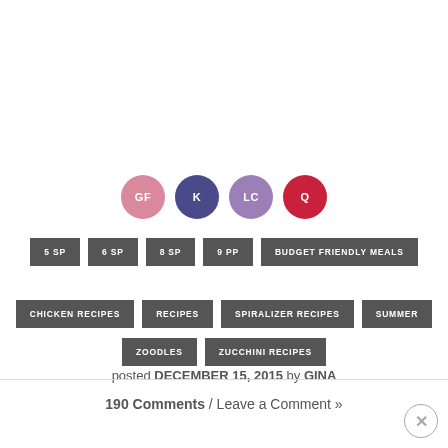[Figure (infographic): Four circular badge icons labeled GF (pink/rose), K (dark purple), LC (medium purple), Q (red/crimson)]
5 SP
6 SP
8 SP
9 PP
BUDGET FRIENDLY MEALS
CHICKEN RECIPES
RECIPES
SPIRALIZER RECIPES
SUMMER
ZOODLES
ZUCCHINI RECIPES
posted DECEMBER 15, 2015 by GINA
190 Comments / Leave a Comment »